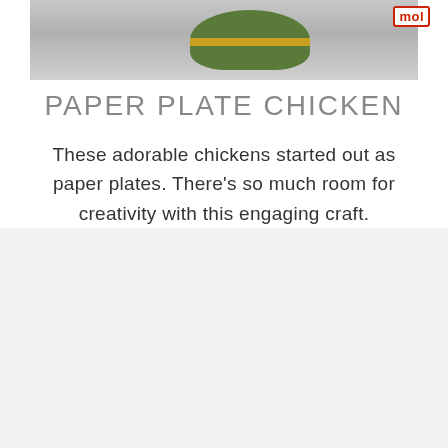[Figure (photo): Top portion of a paper plate chicken craft, showing a green and olive-colored circular paper plate with yellow stripe detail, on a light gray background. A red-bordered 'mol' badge appears in the top right corner.]
PAPER PLATE CHICKEN
These adorable chickens started out as paper plates. There's so much room for creativity with this engaging craft.